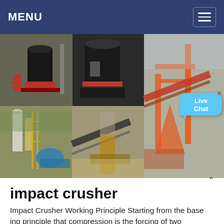MENU
[Figure (photo): Grid of four industrial machinery photos: cone crusher machines, large orange crane/conveyor structure at a mining site, industrial plant with silos and yellow scaffolding, and a mobile crushing/screening plant outdoors.]
impact crusher
Impact Crusher Working Principle Starting from the basing principle that compression is the forcing of two